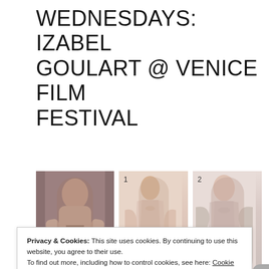WEDNESDAYS: IZABEL GOULART @ VENICE FILM FESTIVAL
[Figure (photo): Photo of Izabel Goulart wearing a pink long-sleeve dress]
[Figure (photo): Product photo 1: pink wrap long-sleeve dress]
[Figure (photo): Product photo 2: pink cold-shoulder wrap dress]
Privacy & Cookies: This site uses cookies. By continuing to use this website, you agree to their use.
To find out more, including how to control cookies, see here: Cookie Policy
Close and accept